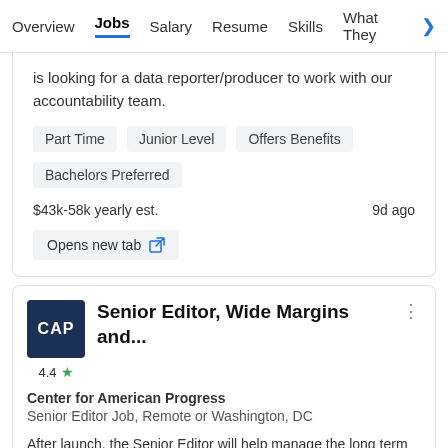Overview | Jobs | Salary | Resume | Skills | What They >
is looking for a data reporter/producer to work with our accountability team.
Part Time
Junior Level
Offers Benefits
Bachelors Preferred
$43k-58k yearly est.   9d ago
Opens new tab
Senior Editor, Wide Margins and...
Center for American Progress
Senior Editor Job, Remote or Washington, DC
After launch, the Senior Editor will help manage the long term content and digital